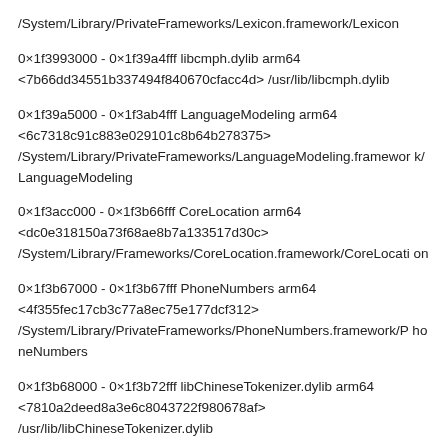/System/Library/PrivateFrameworks/Lexicon.framework/Lexicon
0×1f3993000 - 0×1f39a4fff libcmph.dylib arm64
<7b66dd34551b337494f840670cfacc4d> /usr/lib/libcmph.dylib
0×1f39a5000 - 0×1f3ab4fff LanguageModeling arm64
<6c7318c91c883e029101c8b64b278375>
/System/Library/PrivateFrameworks/LanguageModeling.framework/LanguageModeling
0×1f3acc000 - 0×1f3b66fff CoreLocation arm64
<dc0e318150a73f68ae8b7a133517d30c>
/System/Library/Frameworks/CoreLocation.framework/CoreLocation
0×1f3b67000 - 0×1f3b67fff PhoneNumbers arm64
<4f355fec17cb3c77a8ec75e177dcf312>
/System/Library/PrivateFrameworks/PhoneNumbers.framework/PhoneNumbers
0×1f3b68000 - 0×1f3b72fff libChineseTokenizer.dylib arm64
<7810a2deed8a3e6c8043722f980678af>
/usr/lib/libChineseTokenizer.dylib